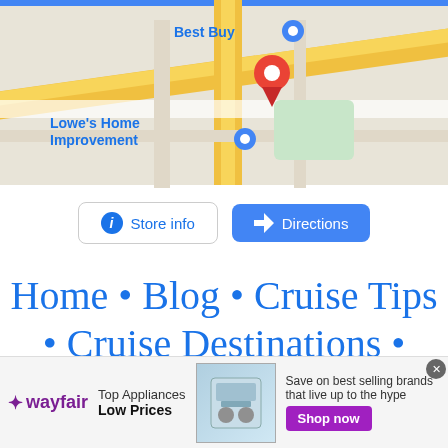[Figure (screenshot): Google Maps screenshot showing Best Buy and Lowe's Home Improvement locations with a red map pin, with a blue top bar. Below the map are two buttons: 'Store info' (white with blue border) and 'Directions' (blue filled button). Below buttons is an ezoic logo on the left and 'report this ad' on the right.]
Home • Blog • Cruise Tips • Cruise Destinations • About • Contact • Resources • Featured Press • Privacy Policy • Cookie Policy • Disclosure Policy • Terms Of U...
[Figure (screenshot): Wayfair advertisement banner at the bottom. Shows wayfair logo on left, 'Top Appliances Low Prices' text in middle, appliance image, and 'Save on best selling brands that live up to the hype' with 'Shop now' purple button on the right. Close button (X) in top right corner.]